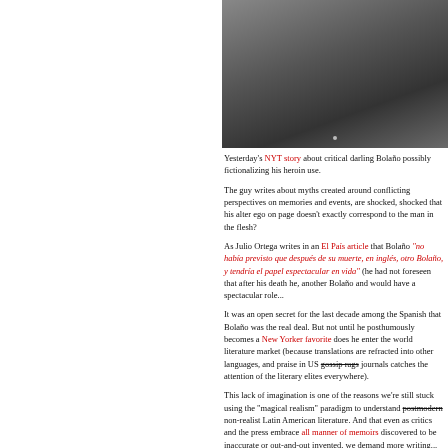[Figure (photo): Photograph of a person seated, wearing a ribbed sweater/jacket, partially cropped]
Yesterday's NYT story about critical darling Bolaño possibly fictionalizing his heroin use.
The guy writes about myths created around conflicting perspectives on memories and events, are shocked, shocked that his alter ego on page doesn't exactly correspond to the man in the flesh?
As Julio Ortega writes in an El País article that Bolaño "no había previsto que después de su muerte, en inglés, otro Bolaño, y tendría el papel espectacular en vida" (he had not foreseen that after his death he, another Bolaño and would have a spectacular role...
It was an open secret for the last decade among those in Spanish that Bolaño was the real deal. But not until he posthumously becomes a New Yorker favorite does he enter the world literature market (because translations are refracted into other languages, and praise in US gossip rags journals catches the attention of the literary elites everywhere).
This lack of imagination is one of the reasons we're still stuck using the "magical realism" paradigm to understand postmodern non-realist Latin American literature. And that even as critics and the press embrace all manner of memoirs discovered to be inaccurate or out-and-out invented, we demand more writing...